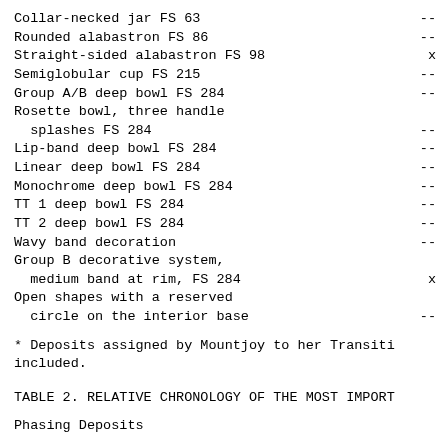| Item | Value |
| --- | --- |
| Collar-necked jar FS 63 | -- |
| Rounded alabastron FS 86 | -- |
| Straight-sided alabastron FS 98 | x |
| Semiglobular cup FS 215 | -- |
| Group A/B deep bowl FS 284 | -- |
| Rosette bowl, three handle splashes FS 284 | -- |
| Lip-band deep bowl FS 284 | -- |
| Linear deep bowl FS 284 | -- |
| Monochrome deep bowl FS 284 | -- |
| TT 1 deep bowl FS 284 | -- |
| TT 2 deep bowl FS 284 | -- |
| Wavy band decoration | -- |
| Group B decorative system, medium band at rim, FS 284 | x |
| Open shapes with a reserved circle on the interior base | -- |
* Deposits assigned by Mountjoy to her Transiti included.
TABLE 2. RELATIVE CHRONOLOGY OF THE MOST IMPORT
Phasing          Deposits